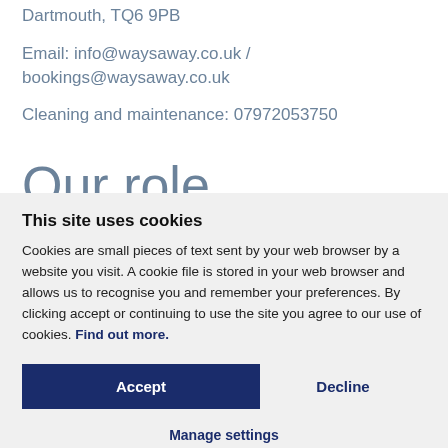Dartmouth, TQ6 9PB
Email: info@waysaway.co.uk / bookings@waysaway.co.uk
Cleaning and maintenance: 07972053750
Our role
...advanced on our...
This site uses cookies
Cookies are small pieces of text sent by your web browser by a website you visit. A cookie file is stored in your web browser and allows us to recognise you and remember your preferences. By clicking accept or continuing to use the site you agree to our use of cookies. Find out more.
Accept
Decline
Manage settings